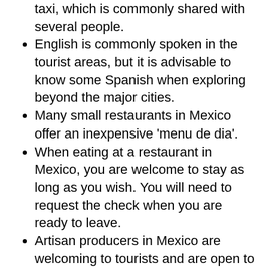taxi, which is commonly shared with several people.
English is commonly spoken in the tourist areas, but it is advisable to know some Spanish when exploring beyond the major cities.
Many small restaurants in Mexico offer an inexpensive 'menu de dia'.
When eating at a restaurant in Mexico, you are welcome to stay as long as you wish. You will need to request the check when you are ready to leave.
Artisan producers in Mexico are welcoming to tourists and are open to sharing the experience of making traditional foods.
Food trucks are not very prevalent in Oaxaca, but one stand-out is La Hormiga
Cinco de Mayo is primarily celebrated in the Puebla region to commemorate a victory over the French. Mexican Independence Day is Sept 16th.